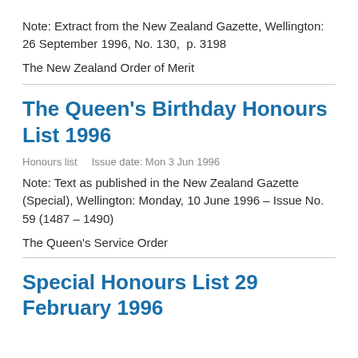Note: Extract from the New Zealand Gazette, Wellington: 26 September 1996, No. 130,  p. 3198
The New Zealand Order of Merit
The Queen's Birthday Honours List 1996
Honours list    Issue date: Mon 3 Jun 1996
Note: Text as published in the New Zealand Gazette (Special), Wellington: Monday, 10 June 1996 – Issue No. 59 (1487 – 1490)
The Queen's Service Order
Special Honours List 29 February 1996